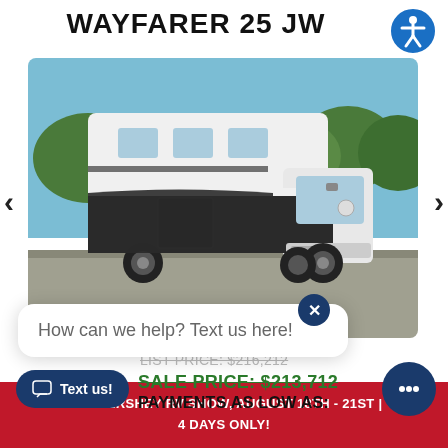WAYFARER 25 JW
[Figure (photo): White and dark grey Wayfarer 25 JW Class C motorhome (Mercedes-Benz Sprinter based) parked on asphalt with blue sky and trees in background]
How can we help? Text us here!
LIST PRICE: $216,212
SALE PRICE: $213,712
PAYMENTS AS LOW AS:
PRE HERSHEY RV SHOW, AUGUST 18TH - 21ST | 4 DAYS ONLY!